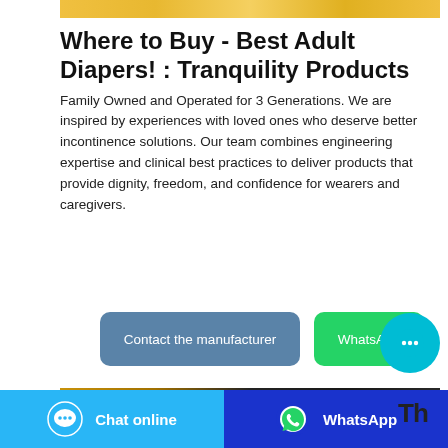[Figure (photo): Partial product image at top, showing gold/yellow packaging]
Where to Buy - Best Adult Diapers! : Tranquility Products
Family Owned and Operated for 3 Generations. We are inspired by experiences with loved ones who deserve better incontinence solutions. Our team combines engineering expertise and clinical best practices to deliver products that provide dignity, freedom, and confidence for wearers and caregivers.
[Figure (screenshot): Contact the manufacturer and WhatsApp buttons, with a chat bubble icon]
[Figure (photo): Bottom partial product image, gold and dark packaging, with 'Th' text partially visible]
Chat online   WhatsApp